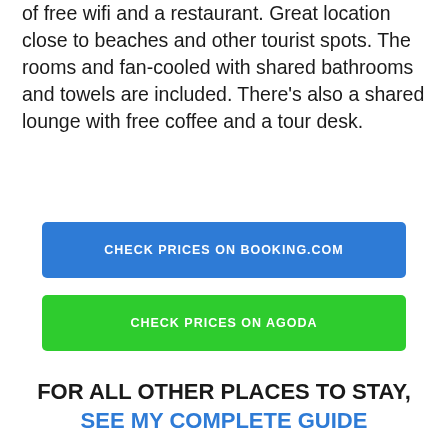of free wifi and a restaurant. Great location close to beaches and other tourist spots. The rooms and fan-cooled with shared bathrooms and towels are included. There's also a shared lounge with free coffee and a tour desk.
CHECK PRICES ON BOOKING.COM
CHECK PRICES ON AGODA
FOR ALL OTHER PLACES TO STAY, SEE MY COMPLETE GUIDE